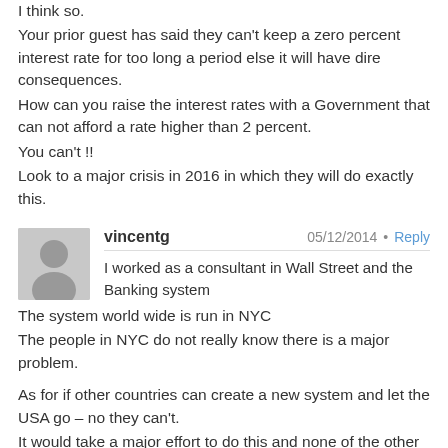Is this what they are really doing?
I think so.
Your prior guest has said they can't keep a zero percent interest rate for too long a period else it will have dire consequences.
How can you raise the interest rates with a Government that can not afford a rate higher than 2 percent.
You can't !!
Look to a major crisis in 2016 in which they will do exactly this.
vincentg   05/12/2014  Reply
I worked as a consultant in Wall Street and the Banking system
The system world wide is run in NYC
The people in NYC do not really know there is a major problem.
As for if other countries can create a new system and let the USA go – no they can't.
It would take a major effort to do this and none of the other countries have this ability.
All they have done so far is nothing more than barter deals.
Russia has had major problems when the US banks were going